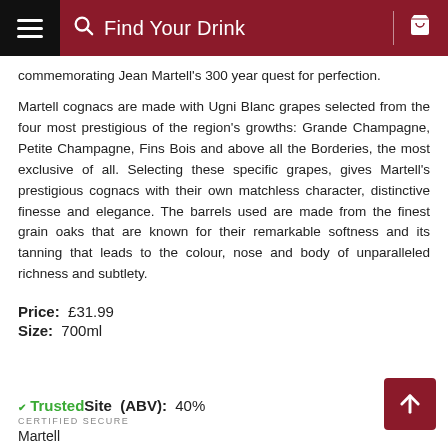Find Your Drink
commemorating Jean Martell's 300 year quest for perfection.
Martell cognacs are made with Ugni Blanc grapes selected from the four most prestigious of the region's growths: Grande Champagne, Petite Champagne, Fins Bois and above all the Borderies, the most exclusive of all. Selecting these specific grapes, gives Martell's prestigious cognacs with their own matchless character, distinctive finesse and elegance. The barrels used are made from the finest grain oaks that are known for their remarkable softness and its tanning that leads to the colour, nose and body of unparalleled richness and subtlety.
Price: £31.99
Size: 700ml
(ABV): 40%
Martell